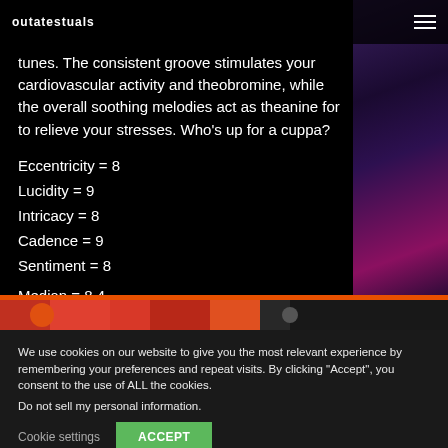outatestuals | hamburger menu
tunes. The consistent groove stimulates your cardiovascular activity and theobromine, while the overall soothing melodies act as theanine for to relieve your stresses. Who's up for a cuppa?
Eccentricity = 8
Lucidity = 9
Intricacy = 8
Cadence = 9
Sentiment = 8
Median = 8.4
[Figure (photo): Video strip with reddish/orange thumbnail imagery and dark background]
We use cookies on our website to give you the most relevant experience by remembering your preferences and repeat visits. By clicking "Accept", you consent to the use of ALL the cookies.
Do not sell my personal information.
Cookie settings  ACCEPT